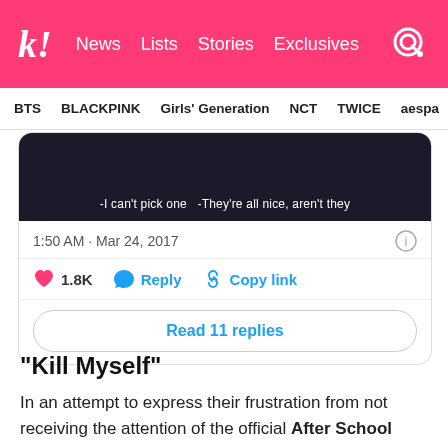k! News  Lists  Stories  Exclusives
BTS  BLACKPINK  Girls' Generation  NCT  TWICE  aespa
[Figure (screenshot): Tweet screenshot showing dark image with subtitles: -I can't pick one  -They're all nice, aren't they. Timestamp: 1:50 AM · Mar 24, 2017. Actions: 1.8K likes, Reply, Copy link. Button: Read 11 replies.]
“Kill Myself”
In an attempt to express their frustration from not receiving the attention of the official After School Club Twitter account, a fan replied to the show’s tweet with the phrase “KMS”. Ironically, it was this tweet that attracted the